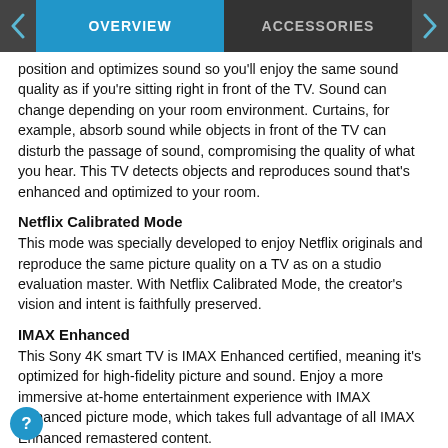OVERVIEW | ACCESSORIES
position and optimizes sound so you'll enjoy the same sound quality as if you're sitting right in front of the TV. Sound can change depending on your room environment. Curtains, for example, absorb sound while objects in front of the TV can disturb the passage of sound, compromising the quality of what you hear. This TV detects objects and reproduces sound that's enhanced and optimized to your room.
Netflix Calibrated Mode
This mode was specially developed to enjoy Netflix originals and reproduce the same picture quality on a TV as on a studio evaluation master. With Netflix Calibrated Mode, the creator's vision and intent is faithfully preserved.
IMAX Enhanced
This Sony 4K smart TV is IMAX Enhanced certified, meaning it's optimized for high-fidelity picture and sound. Enjoy a more immersive at-home entertainment experience with IMAX Enhanced picture mode, which takes full advantage of all IMAX Enhanced remastered content.